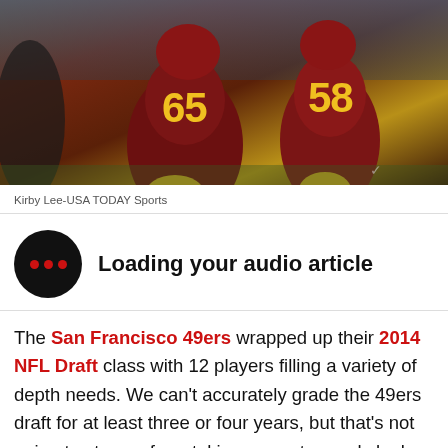[Figure (photo): Two USC Trojans football players in cardinal and gold uniforms on the field; jersey numbers 65 and 58 visible]
Kirby Lee-USA TODAY Sports
Loading your audio article
The San Francisco 49ers wrapped up their 2014 NFL Draft class with 12 players filling a variety of depth needs. We can't accurately grade the 49ers draft for at least three or four years, but that's not going to stop us from taking a way too early look. Draft grades